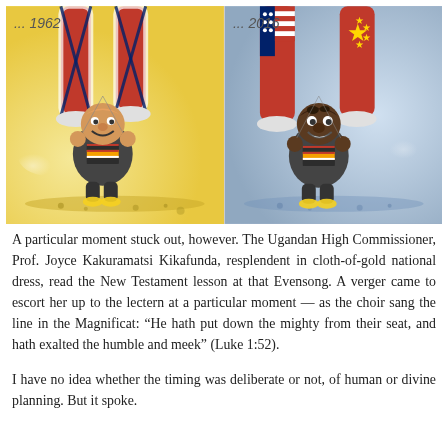[Figure (illustration): Two-panel political cartoon. Left panel labeled '... 1962' shows a smiling Ugandan figure in a dark robe with Uganda flag badge, being puppet-controlled by a British Union Jack-clad figure above. Right panel labeled '... 2016' shows a similar Ugandan figure being puppet-controlled by figures in US flag and China flag trousers.]
A particular moment stuck out, however. The Ugandan High Commissioner, Prof. Joyce Kakuramatsi Kikafunda, resplendent in cloth-of-gold national dress, read the New Testament lesson at that Evensong. A verger came to escort her up to the lectern at a particular moment — as the choir sang the line in the Magnificat: "He hath put down the mighty from their seat, and hath exalted the humble and meek" (Luke 1:52).
I have no idea whether the timing was deliberate or not, of human or divine planning. But it spoke.